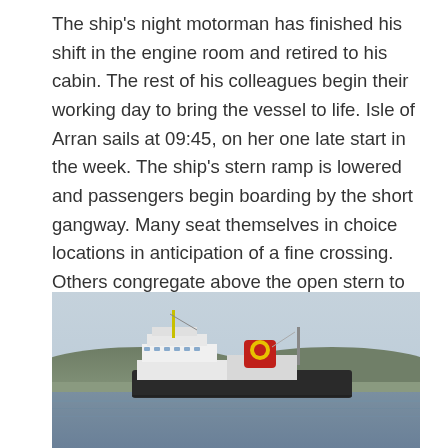The ship's night motorman has finished his shift in the engine room and retired to his cabin. The rest of his colleagues begin their working day to bring the vessel to life. Isle of Arran sails at 09:45, on her one late start in the week. The ship's stern ramp is lowered and passengers begin boarding by the short gangway. Many seat themselves in choice locations in anticipation of a fine crossing. Others congregate above the open stern to watch the spectacle of loading. The backdrop of Port Ellen's compact semi-circular bay, the neat seafront dwellings, the quayside with its bright painted boats and small marina, provide a memorable setting.
[Figure (photo): A photograph of a ferry ship docked at Port Ellen harbour. The ship has a white superstructure and a red funnel with a yellow emblem. The background shows a hilly shoreline and a pale blue sky. The water is calm and grey-blue.]